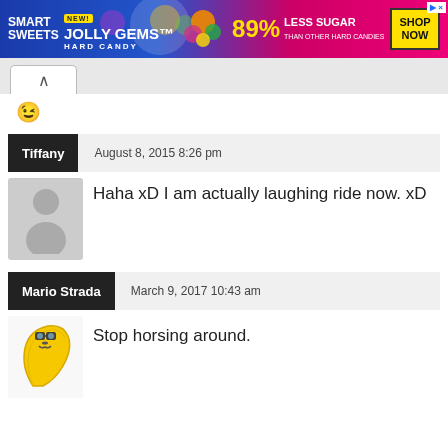[Figure (illustration): SmartSweets Jolly Gems advertisement banner: 89% Less Sugar than other hard candies, Shop Now button]
[Figure (illustration): Browser navigation tab area with up-arrow (collapse) tab]
[Figure (illustration): Winking face emoji icon]
Tiffany   August 8, 2015 8:26 pm
Haha xD I am actually laughing ride now. xD
Mario Strada   March 9, 2017 10:43 am
Stop horsing around.